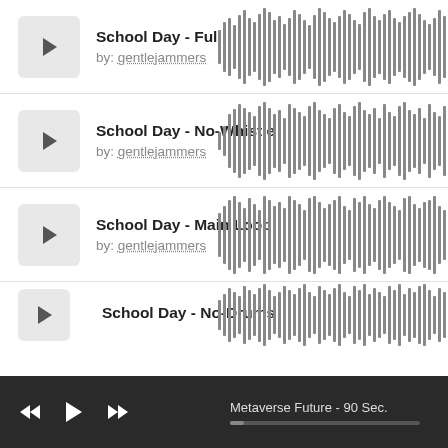School Day - Full
by: gentlejammers
[Figure (other): Audio waveform for School Day - Full]
School Day - No-Whistle
by: gentlejammers
[Figure (other): Audio waveform for School Day - No-Whistle]
School Day - Main Loop
by: gentlejammers
[Figure (other): Audio waveform for School Day - Main Loop]
School Day - No-Drums
[Figure (other): Audio waveform for School Day - No-Drums]
Metaverse Future - 90 Sec.